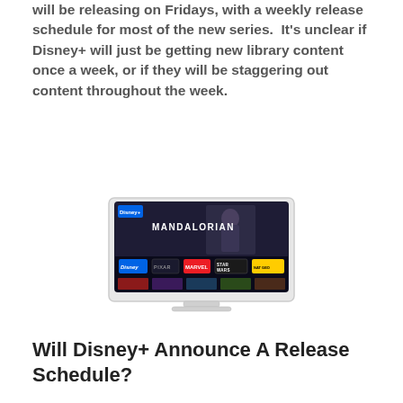will be releasing on Fridays, with a weekly release schedule for most of the new series.  It's unclear if Disney+ will just be getting new library content once a week, or if they will be staggering out content throughout the week.
[Figure (screenshot): A television displaying the Disney+ streaming service interface showing The Mandalorian hero image and channel logos including Disney, Pixar, Marvel, Star Wars, and National Geographic, with content thumbnails below.]
Will Disney+ Announce A Release Schedule?